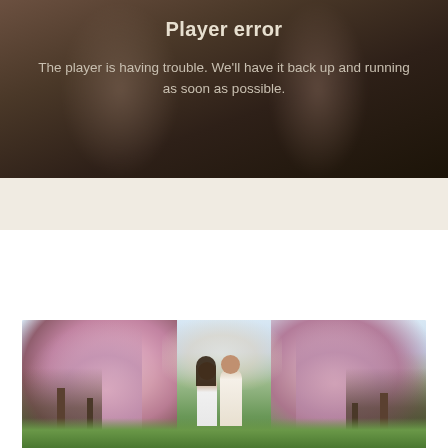[Figure (screenshot): Video player error screen with dark brownish background showing a blurred couple image behind. Text overlay reads 'Player error' as title and 'The player is having trouble. We'll have it back up and running as soon as possible.' as message.]
Player error
The player is having trouble. We'll have it back up and running as soon as possible.
[Figure (photo): Outdoor photo of a couple (man with beard and woman with long dark hair) standing together surrounded by blooming cherry blossom / pink flowering trees in spring. Green grass below.]